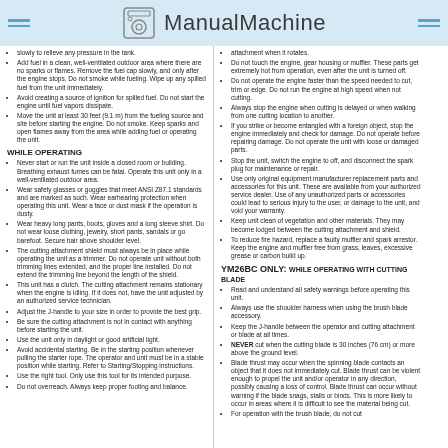ManualMachine
slowly to relieve any pressure in the tank.
Add fuel in a clean, well-ventilated outdoor area where there are no sparks or flames. Remove the fuel cap slowly, and only after the engine stops. Do not smoke while fueling. Wipe up any spilled fuel from the unit immediately.
Avoid creating a source of ignition for spilled fuel. Do not start the engine until fuel vapors dissipate.
Move the unit at least 30 feet (9.1 m) from the fueling source and site before starting the engine. Do not smoke. Keep sparks and open flames away from the area while adding fuel or operating the unit.
WHILE OPERATING
Never start or run the unit inside a closed room or building. Breathing exhaust fumes can be fatal. Operate this unit only in a well-ventilated outdoor area.
Wear safety glasses or goggles that meet ANSI Z87.1 standards and are marked as such. Wear earhearing protection when operating this unit. Wear a face or dust mask if the operation is dusty.
Wear heavy long pants, boots, gloves and a long sleeve shirt. Do not wear loose clothing, jewelry, short pants, sandals or go barefoot. Secure hair above shoulder level.
The cutting attachment shield must always be in place while operating the unit as a trimmer. Do not operate unit without both trimming lines extended, and the proper line installed. Do not extend the trimming line beyond the length of the shield.
This unit has a clutch. The cutting attachment remains stationary when the engine is idling. If it does not, have the unit adjusted by an authorized service technician.
Adjust the J-handle to your size in order to provide the best grip.
Be sure the cutting attachment is not in contact with anything before starting the unit.
Use the unit only in daylight or good artificial light.
Avoid accidental starting. Be in the starting position whenever pulling the starter rope. The operator and unit must be in a stable position while starting. Refer to Starting/Stopping instructions.
Use the right tool. Only use this tool for its intended purpose.
Do not overreach. Always keep proper footing and balance.
attachment when it rotates.
Do not touch the engine, gear housing or muffler. These parts get extremely hot from operation, even after the unit is turned off.
Do not operate the engine faster than the speed needed to cut, trim or edge. Do not run the engine at high speed when not cutting.
Always stop the engine when cutting is delayed or when walking from one cutting location to another.
If you strike or become entangled with a foreign object, stop the engine immediately and check for damage. Do not operate before repairing damage. Do not operate the unit with loose or damaged parts.
Stop the unit, switch the engine to off, and disconnect the spark plug for maintenance or repair.
Use only original equipment manufacturer replacement parts and accessories for this unit. These are available from your authorized service dealer. Use of any unauthorized parts or accessories could lead to serious injury to the user, or damage to the unit, and void your warranty.
Keep unit clean of vegetation and other materials. They may become lodged between the cutting attachment and shield.
To reduce fire hazard, replace a faulty muffler and spark arrestor. Keep the engine and muffler free from grass, leaves, excessive grease or carbon build up.
YM26BC ONLY: WHILE OPERATING WITH CUTTING BLADE
Read and understand all safety warnings before operating this unit.
Always use the shoulder harness when using the brush blade accessory.
Keep the J-handle between the operator and cutting attachment or blade at all times.
NEVER cut when the cutting blade is 30 inches (76 cm) or more above the ground level.
Blade thrust may occur when the spinning blade contacts an object that it does not immediately cut. Blade thrust can be violent enough to propel the unit and/or operator in any direction, possibly causing a loss of control. Blade thrust can occur without warning if the blade snags, stalls or binds. This is more likely to occur in areas where it is difficult to see the material being cut.
For operation with the brush blade, do not cut